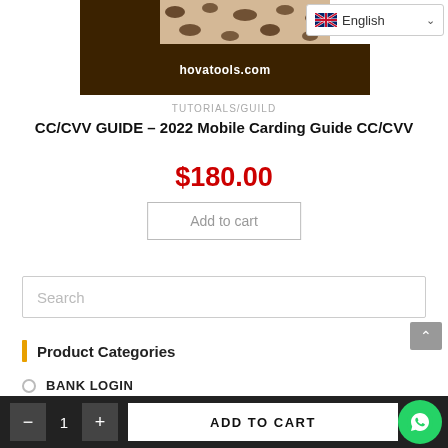[Figure (screenshot): Website header banner with dark brown background showing hovatools.com and a leopard print image snippet, with an English language selector in top right]
TUTORIALS/GUILD
CC/CVV GUIDE – 2022 Mobile Carding Guide CC/CVV
$180.00
Add to cart
Search
Product Categories
BANK LOGIN